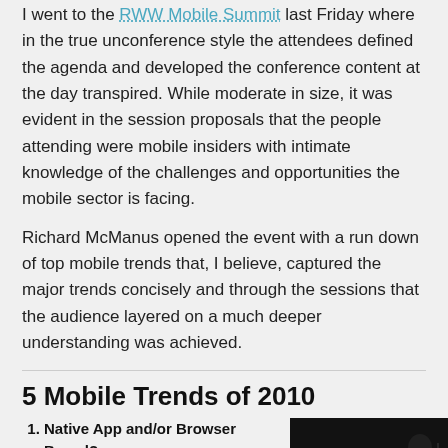I went to the RWW Mobile Summit last Friday where in the true unconference style the attendees defined the agenda and developed the conference content at the day transpired. While moderate in size, it was evident in the session proposals that the people attending were mobile insiders with intimate knowledge of the challenges and opportunities the mobile sector is facing.
Richard McManus opened the event with a run down of top mobile trends that, I believe, captured the major trends concisely and through the sessions that the audience layered on a much deeper understanding was achieved.
5 Mobile Trends of 2010
Native App and/or Browser Based?
Geo-location Services
Internet of Things
[Figure (photo): Photo of a person at what appears to be a conference or event, dark background with yellow/golden flower or object in foreground]